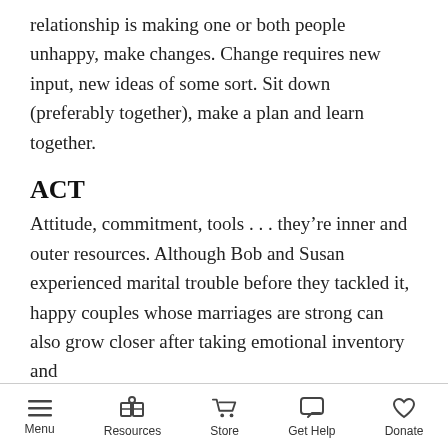relationship is making one or both people unhappy, make changes. Change requires new input, new ideas of some sort. Sit down (preferably together), make a plan and learn together.
ACT
Attitude, commitment, tools . . . they’re inner and outer resources. Although Bob and Susan experienced marital trouble before they tackled it, happy couples whose marriages are strong can also grow closer after taking emotional inventory and
Menu  Resources  Store  Get Help  Donate